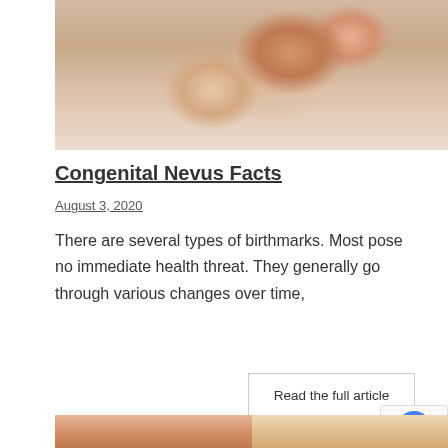[Figure (photo): Photo of a baby lying on its back on a white towel, smiling and holding its foot up to its mouth]
Congenital Nevus Facts
August 3, 2020
There are several types of birthmarks. Most pose no immediate health threat. They generally go through various changes over time,
Read the full article
[Figure (photo): Partial view of two people's faces at the bottom of the page]